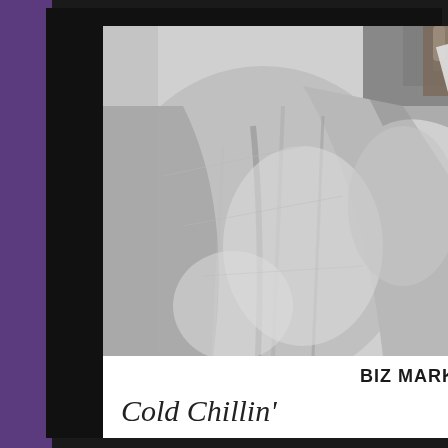[Figure (photo): Black and white close-up photograph of Biz Markie, showing torso in a jacket, holding something in his right hand. The photo is framed in a black mat with a purple side panel on the left. Below the photo is a white band with the text 'BIZ MARKIE' in bold and 'Cold Chillin'' in script lettering — this is an album or press photo from Cold Chillin' Records.]